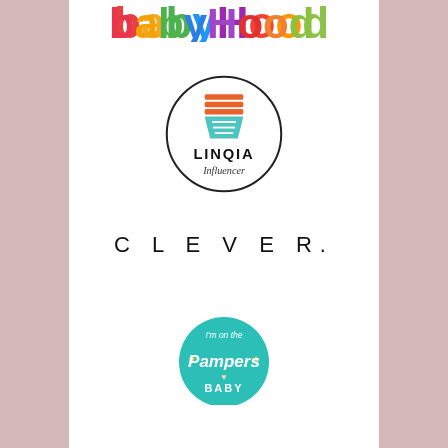[Figure (logo): Babyhood colorful logo at the top, partially cut off]
[Figure (logo): LINQIA Influencer logo inside a circle with orange and teal shopping cart icon]
[Figure (logo): CLEVER. wordmark in spaced uppercase sans-serif letters]
[Figure (logo): Pampers Baby badge/seal in teal with text 'I'm on the Pampers BABY']